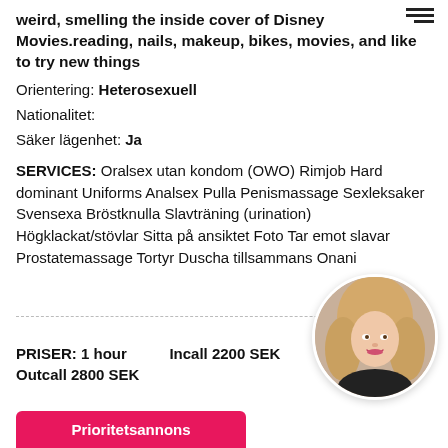weird, smelling the inside cover of Disney Movies.reading, nails, makeup, bikes, movies, and like to try new things
Orientering: Heterosexuell
Nationalitet:
Säker lägenhet: Ja
SERVICES: Oralsex utan kondom (OWO) Rimjob Hard dominant Uniforms Analsex Pulla Penismassage Sexleksaker Svensexa Bröstknulla Slavträning (urination) Högklackat/stövlar Sitta på ansiktet Foto Tar emot slavar Prostatemassage Tortyr Duscha tillsammans Onani
PRISER: 1 hour   Incall 2200 SEK   Outcall 2800 SEK
[Figure (photo): Circular profile photo of a blonde woman in dark clothing]
Prioritetsannons